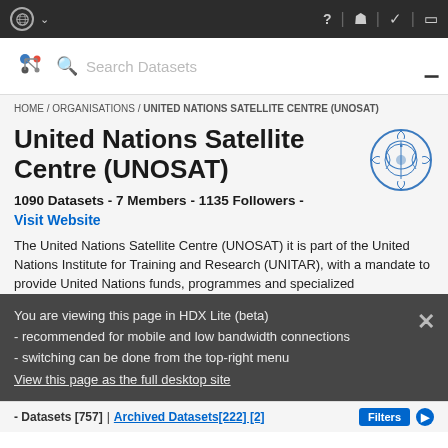UN logo navigation bar with search: Search Datasets
HOME / ORGANISATIONS / UNITED NATIONS SATELLITE CENTRE (UNOSAT)
United Nations Satellite Centre (UNOSAT)
1090 Datasets - 7 Members - 1135 Followers -
Visit Website
The United Nations Satellite Centre (UNOSAT) it is part of the United Nations Institute for Training and Research (UNITAR), with a mandate to provide United Nations funds, programmes and specialized ... More
You are viewing this page in HDX Lite (beta)
- recommended for mobile and low bandwidth connections
- switching can be done from the top-right menu
View this page as the full desktop site
Datasets [757] | Archived Datasets[222] [2]   Filters